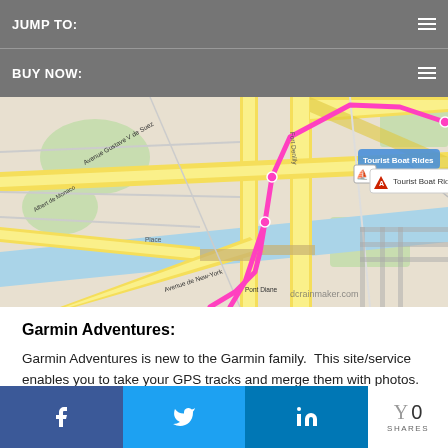JUMP TO:
BUY NOW:
[Figure (map): Map of Paris showing a GPS route highlighted in pink/magenta overlaid on a street map. A popup tooltip reads 'Tourist Boat Rides' with a boat icon and an Avenza-style marker popup. Streets include Avenue Gustave Violet, Albert de Monaco, Pont Diana, Avenue de New-York, La Seine river visible. Watermark: dcrainmaker.com]
Garmin Adventures:
Garmin Adventures is new to the Garmin family.  This site/service enables you to take your GPS tracks and merge them with photos.  There have been many entrants to this category in the past, some successful – most not.  The reason for most failed attempts was that they didn't have the GPS integration aspect figured out.  The picture
0 SHARES